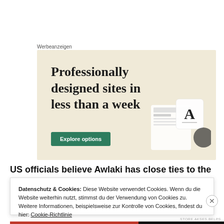Werbeanzeigen
[Figure (illustration): Advertisement banner with beige background showing text 'Professionally designed sites in less than a week' with a green 'Explore options' button and website mockup images on the right.]
US officials believe Awlaki has close ties to the Yemeni
Datenschutz & Cookies: Diese Website verwendet Cookies. Wenn du die Website weiterhin nutzt, stimmst du der Verwendung von Cookies zu. Weitere Informationen, beispielsweise zur Kontrolle von Cookies, findest du hier: Cookie-Richtlinie
Schließen und Akzeptieren